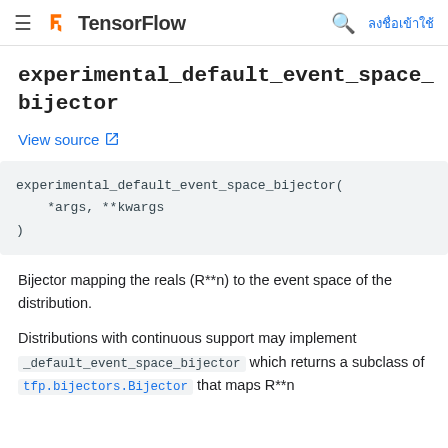TensorFlow — ลงชื่อเข้าใช้
experimental_default_event_space_bijector
View source
experimental_default_event_space_bijector(
    *args, **kwargs
)
Bijector mapping the reals (R**n) to the event space of the distribution.
Distributions with continuous support may implement _default_event_space_bijector which returns a subclass of tfp.bijectors.Bijector that maps R**n